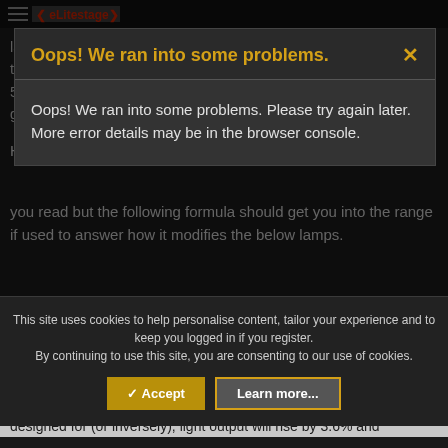[Figure (screenshot): Website with dark theme showing a forum or article page. Top navigation bar visible with hamburger menu and logo area partially covered by an error modal.]
lamps but they are for the most part worthless,) you can still use the high output lamps for your practicles when you need to so the 575w for specials headroom question is a bit lessened by way going high output.
Here is the formula for what could in theory work.
[Figure (screenshot): Error modal dialog with dark background. Header reads 'Oops! We ran into some problems.' in gold/yellow text with a gold X close button. Body reads: 'Oops! We ran into some problems. Please try again later. More error details may be in the browser console.']
This site uses cookies to help personalise content, tailor your experience and to keep you logged in if you register.
By continuing to use this site, you are consenting to our use of cookies.
you read but the following formula should get you into the range if used to answer how it modifies the below lamps.
For every 1% change in supply voltage over the rate the lamp is designed for (or inversely), light output will rise by 3.6% and